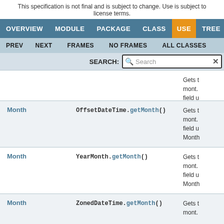This specification is not final and is subject to change. Use is subject to license terms.
OVERVIEW  MODULE  PACKAGE  CLASS  USE  TREE
PREV  NEXT  FRAMES  NO FRAMES  ALL CLASSES
| Type | Method | Description |
| --- | --- | --- |
| Month | OffsetDateTime.getMonth() | Gets t month. field u Month |
| Month | YearMonth.getMonth() | Gets t month. field u Month |
| Month | ZonedDateTime.getMonth() | Gets t month. |